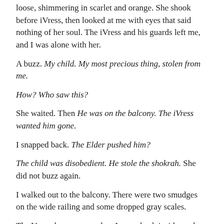loose, shimmering in scarlet and orange. She shook before iVress, then looked at me with eyes that said nothing of her soul. The iVress and his guards left me, and I was alone with her.
A buzz. My child. My most precious thing, stolen from me.
How? Who saw this?
She waited. Then He was on the balcony. The iVress wanted him gone.
I snapped back. The Elder pushed him?
The child was disobedient. He stole the shokrah. She did not buzz again.
I walked out to the balcony. There were two smudges on the wide railing and some dropped gray scales.
The Vreesek was gone when I came back inside, and a guard took me to the elevator.
Once outside, I peered up into the drizzle, searching.